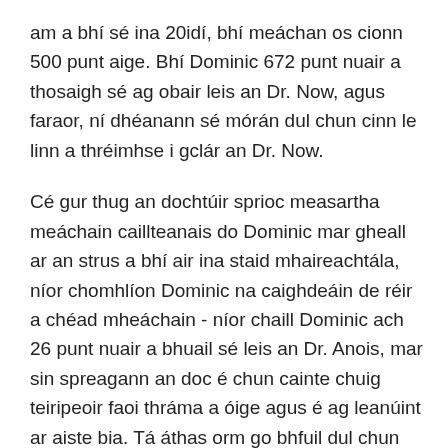am a bhí sé ina 20idí, bhí meáchan os cionn 500 punt aige. Bhí Dominic 672 punt nuair a thosaigh sé ag obair leis an Dr. Now, agus faraor, ní dhéanann sé mórán dul chun cinn le linn a thréimhse i gclár an Dr. Now.
Cé gur thug an dochtúir sprioc measartha meáchain caillteanais do Dominic mar gheall ar an strus a bhí air ina staid mhaireachtála, níor chomhlíon Dominic na caighdeáin de réir a chéad mheáchain - níor chaill Dominic ach 26 punt nuair a bhuail sé leis an Dr. Anois, mar sin spreagann an doc é chun cainte chuig teiripeoir faoi thráma a óige agus é ag leanúint ar aiste bia. Tá áthas orm go bhfuil dul chun cinn áirithe déanta ag Dominic, ach is cosúil nach bhfuil spreagadh foriomlán aige chun a shaol a athrú, a deir